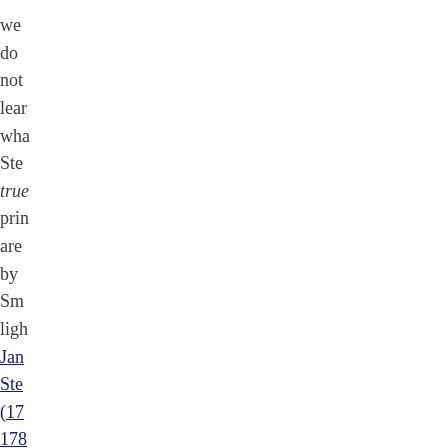we do not learn what Ste true prin are by Sm ligh Jan Ste (17 178 had an exc life but afte the